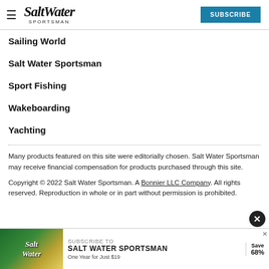Salt Water Sportsman — SUBSCRIBE
Sailing World
Salt Water Sportsman
Sport Fishing
Wakeboarding
Yachting
Many products featured on this site were editorially chosen. Salt Water Sportsman may receive financial compensation for products purchased through this site.
Copyright © 2022 Salt Water Sportsman. A Bonnier LLC Company. All rights reserved. Reproduction in whole or in part without permission is prohibited.
[Figure (infographic): Advertisement banner: Subscribe to Salt Water Sportsman — One Year for Just $19, Save 68%]